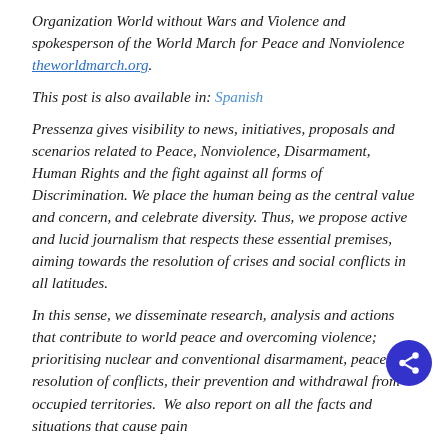Organization World without Wars and Violence and spokesperson of the World March for Peace and Nonviolence theworldmarch.org.
This post is also available in: Spanish
Pressenza gives visibility to news, initiatives, proposals and scenarios related to Peace, Nonviolence, Disarmament, Human Rights and the fight against all forms of Discrimination. We place the human being as the central value and concern, and celebrate diversity. Thus, we propose active and lucid journalism that respects these essential premises, aiming towards the resolution of crises and social conflicts in all latitudes.
In this sense, we disseminate research, analysis and actions that contribute to world peace and overcoming violence; prioritising nuclear and conventional disarmament, peaceful resolution of conflicts, their prevention and withdrawal from occupied territories.  We also report on all the facts and situations that cause pain and affliction, and that run against progress and development.